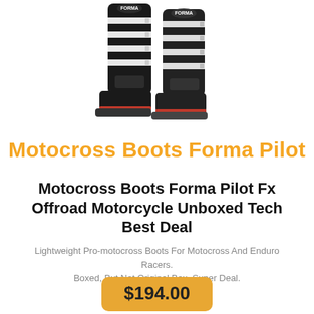[Figure (photo): Two black motocross boots (Forma Pilot) with white buckle straps, viewed from the front-side, on a white background.]
Motocross Boots Forma Pilot
Motocross Boots Forma Pilot Fx Offroad Motorcycle Unboxed Tech Best Deal
Lightweight Pro-motocross Boots For Motocross And Enduro Racers. Boxed, But Not Original Box. Super Deal.
$194.00